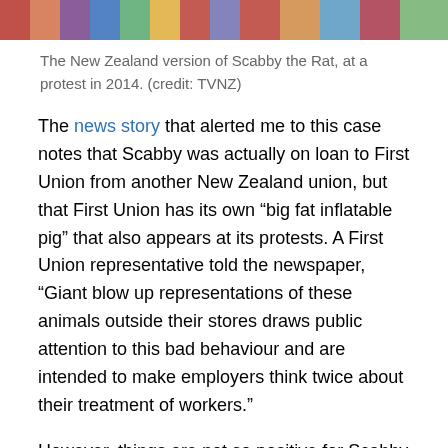[Figure (photo): Colorful photo strip showing a protest scene, partially visible at top of page]
The New Zealand version of Scabby the Rat, at a protest in 2014. (credit: TVNZ)
The news story that alerted me to this case notes that Scabby was actually on loan to First Union from another New Zealand union, but that First Union has its own “big fat inflatable pig” that also appears at its protests. A First Union representative told the newspaper, “Giant blow up representations of these animals outside their stores draws public attention to this bad behaviour and are intended to make employers think twice about their treatment of workers.”
However, things are not so positive for Scabby back in the USA. The Trump administration is decidedly anti-worker and anti-union, and a Trump appointee at the National